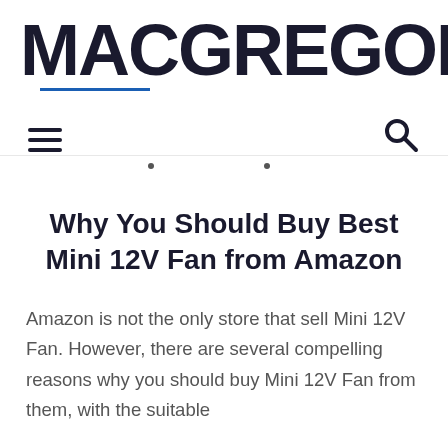MACGREGOR26
Why You Should Buy Best Mini 12V Fan from Amazon
Amazon is not the only store that sell Mini 12V Fan. However, there are several compelling reasons why you should buy Mini 12V Fan from them, with the suitable